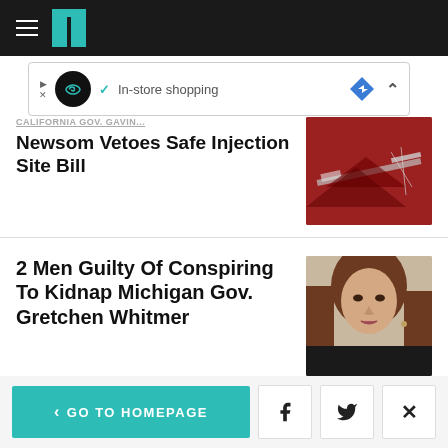HuffPost
[Figure (screenshot): Ad banner with infinity loop icon, checkmark, 'In-store shopping' text, blue diamond navigation icon, and collapse caret]
California Gov. Gavin Newsom Vetoes Safe Injection Site Bill
[Figure (photo): Photo of a syringe on a red surface, related to safe injection site bill story]
2 Men Guilty Of Conspiring To Kidnap Michigan Gov. Gretchen Whitmer
[Figure (photo): Photo of a woman with long hair looking to the side, related to Gretchen Whitmer kidnapping conspiracy story]
< GO TO HOMEPAGE